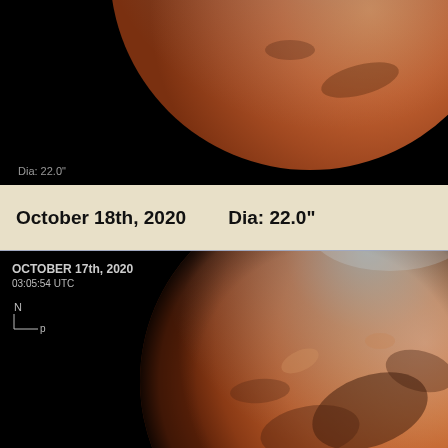[Figure (photo): Telescope image of Mars against black background, top portion cropped]
Dia: 22.0"
October 18th, 2020    Dia: 22.0"
[Figure (photo): Telescope image of Mars showing red planet surface with dark markings and polar haze, against black background. Annotated with OCTOBER 17th, 2020 03:05:54 UTC and compass directions N and p.]